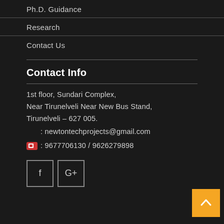Ph.D. Guidance
Research
Contact Us
Contact Info
1st floor, Sundari Complex,
Near Tirunelveli Near New Bus Stand,
Tirunelveli – 627 005.
    : newtontechprojects@gmail.com
🚗 : 9677706130 / 9626279898